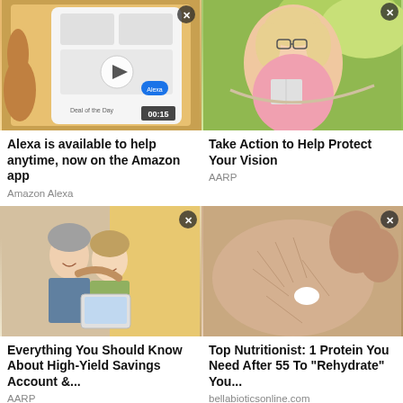[Figure (photo): Person holding a smartphone showing the Amazon app with Alexa, video thumbnail with 00:15 timer]
Alexa is available to help anytime, now on the Amazon app
Amazon Alexa
[Figure (photo): Middle-aged woman with glasses relaxing in a hammock reading a book outdoors]
Take Action to Help Protect Your Vision
AARP
[Figure (photo): Older couple smiling together looking at a tablet device indoors]
Everything You Should Know About High-Yield Savings Account &...
AARP
[Figure (photo): Close-up macro photo of dry skin on a hand with a small cream or supplement pill]
Top Nutritionist: 1 Protein You Need After 55 To "Rehydrate" You...
bellabioticsonline.com
[Figure (photo): Partial view of a dark brown food item (bottom left card, cropped)]
[Figure (photo): Partial view of green aloe vera or similar plant with white cream (bottom right card, cropped)]